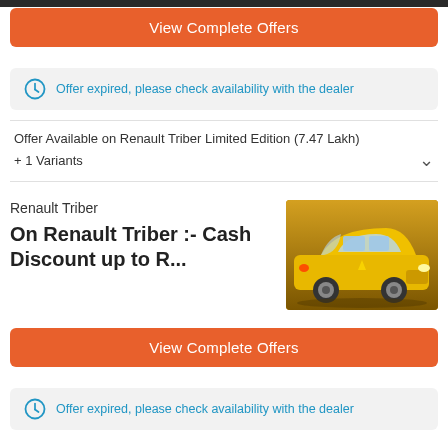[Figure (screenshot): Top dark bar partial]
View Complete Offers
Offer expired, please check availability with the dealer
Offer Available on Renault Triber Limited Edition (7.47 Lakh)
+ 1 Variants
Renault Triber
On Renault Triber :- Cash Discount up to R...
[Figure (photo): Yellow Renault Triber SUV car image]
View Complete Offers
Offer expired, please check availability with the dealer